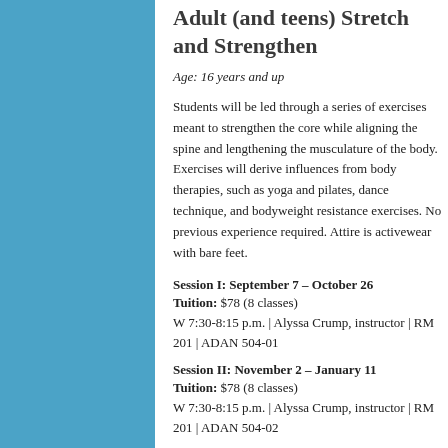Adult (and teens) Stretch and Strengthen
Age: 16 years and up
Students will be led through a series of exercises meant to strengthen the core while aligning the spine and lengthening the musculature of the body. Exercises will derive influences from body therapies, such as yoga and pilates, dance technique, and bodyweight resistance exercises. No previous experience required. Attire is activewear with bare feet.
Session I: September 7 – October 26
Tuition: $78 (8 classes)
W 7:30-8:15 p.m. | Alyssa Crump, instructor | RM 201 | ADAN 504-01
Session II: November 2 – January 11
Tuition: $78 (8 classes)
W 7:30-8:15 p.m. | Alyssa Crump, instructor | RM 201 | ADAN 504-02